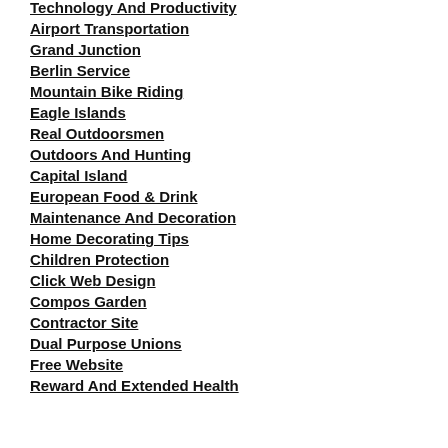Technology And Productivity
Airport Transportation
Grand Junction
Berlin Service
Mountain Bike Riding
Eagle Islands
Real Outdoorsmen
Outdoors And Hunting
Capital Island
European Food & Drink
Maintenance And Decoration
Home Decorating Tips
Children Protection
Click Web Design
Compos Garden
Contractor Site
Dual Purpose Unions
Free Website
Reward And Extended Health